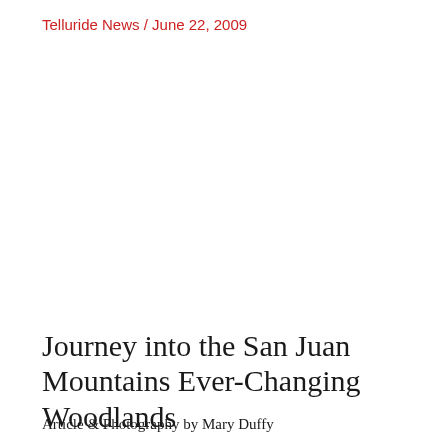Telluride News / June 22, 2009
Journey into the San Juan Mountains Ever-Changing Woodlands
Article & Photography by Mary Duffy